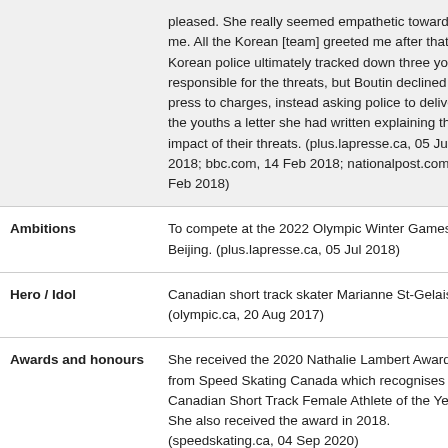pleased. She really seemed empathetic towards me. All the Korean [team] greeted me after that." Korean police ultimately tracked down three youths responsible for the threats, but Boutin declined press to charges, instead asking police to deliver to the youths a letter she had written explaining the impact of their threats. (plus.lapresse.ca, 05 Jul 2018; bbc.com, 14 Feb 2018; nationalpost.com, 17 Feb 2018)
Ambitions
To compete at the 2022 Olympic Winter Games in Beijing. (plus.lapresse.ca, 05 Jul 2018)
Hero / Idol
Canadian short track skater Marianne St-Gelais. (olympic.ca, 20 Aug 2017)
Awards and honours
She received the 2020 Nathalie Lambert Award from Speed Skating Canada which recognises the Canadian Short Track Female Athlete of the Year. She also received the award in 2018. (speedskating.ca, 04 Sep 2020)
She was named the 2018 Female Winter Athlete of